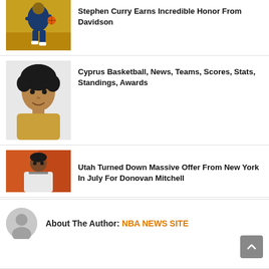[Figure (photo): Stephen Curry in Golden State Warriors uniform dribbling basketball]
Stephen Curry Earns Incredible Honor From Davidson
[Figure (photo): Young basketball player headshot with dark curly hair]
Cyprus Basketball, News, Teams, Scores, Stats, Standings, Awards
[Figure (photo): Donovan Mitchell headshot on orange/red background]
Utah Turned Down Massive Offer From New York In July For Donovan Mitchell
About The Author: NBA NEWS SITE